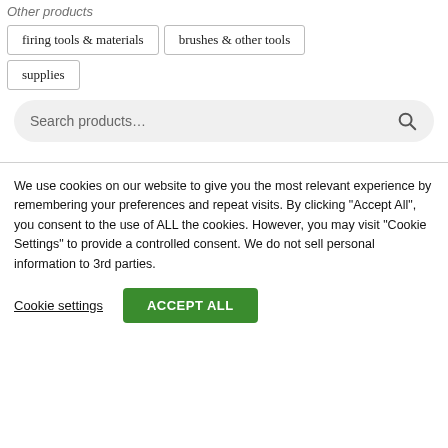Other products
firing tools & materials
brushes & other tools
supplies
Search products...
We use cookies on our website to give you the most relevant experience by remembering your preferences and repeat visits. By clicking "Accept All", you consent to the use of ALL the cookies. However, you may visit "Cookie Settings" to provide a controlled consent. We do not sell personal information to 3rd parties.
Cookie settings
ACCEPT ALL